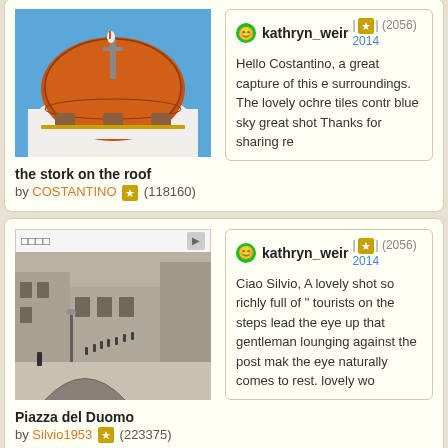[Figure (photo): Church dome with orange/red roof tiles against blue sky, stork on top]
the stork on the roof
by COSTANTINO (118160)
kathryn_weir | (2056) 2014
Hello Costantino, a great capture of this e surroundings. The lovely ochre tiles contr blue sky great shot Thanks for sharing re
[Figure (photo): Piazza del Duomo street scene with stone buildings, steps, tourists, and arch bridge]
Piazza del Duomo
by Silvio1953 (223375)
kathryn_weir | (2056) 2014
Ciao Silvio, A lovely shot so richly full of tourists on the steps lead the eye up that gentleman lounging against the post mak the eye naturally comes to rest. lovely wo
[Figure (photo): Partial third card showing another photo (cut off at bottom)]
kathryn_weir (partial, cut off)